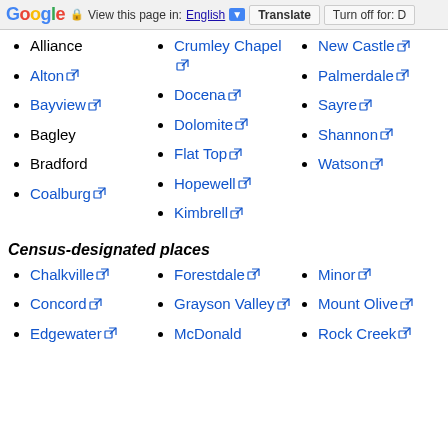Google | View this page in: English | Translate | Turn off for: D
Alliance
Alton [external link]
Bayview [external link]
Bagley
Bradford
Coalburg [external link]
Crumley Chapel [external link]
Docena [external link]
Dolomite [external link]
Flat Top [external link]
Hopewell [external link]
Kimbrell [external link]
New Castle [external link]
Palmerdale [external link]
Sayre [external link]
Shannon [external link]
Watson [external link]
Census-designated places
Chalkville [external link]
Concord [external link]
Edgewater [external link]
Forestdale [external link]
Grayson Valley [external link]
McDonald
Minor [external link]
Mount Olive [external link]
Rock Creek [external link]